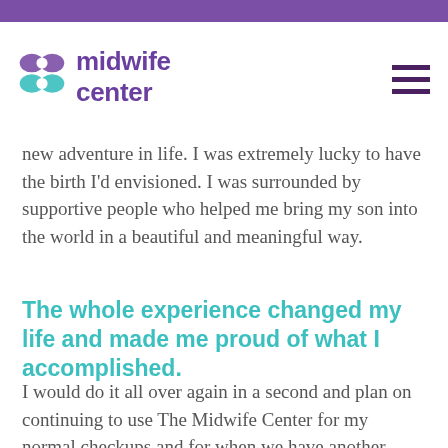[Figure (logo): Midwife Center logo with butterfly/infinity icon in teal/purple and purple text reading 'midwife center']
new adventure in life. I was extremely lucky to have the birth I'd envisioned. I was surrounded by supportive people who helped me bring my son into the world in a beautiful and meaningful way.
The whole experience changed my life and made me proud of what I accomplished.
I would do it all over again in a second and plan on continuing to use The Midwife Center for my normal checkups and for when we have another child.